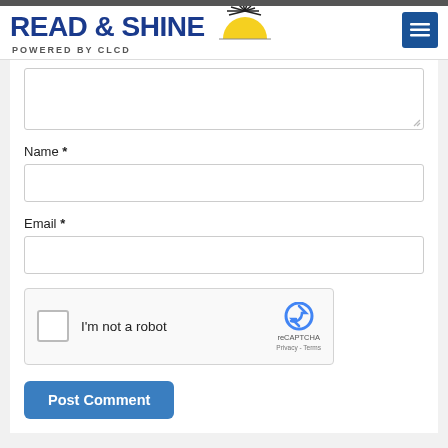[Figure (logo): READ & SHINE logo with sun graphic and 'POWERED BY CLCD' subtitle, plus hamburger menu button]
Name *
Email *
[Figure (other): reCAPTCHA widget with checkbox labeled I'm not a robot]
Post Comment